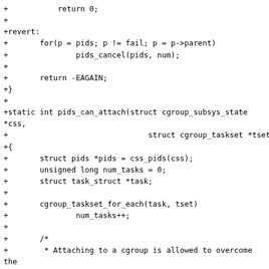+           return 0;
+
+revert:
+       for(p = pids; p != fail; p = p->parent)
+               pids_cancel(pids, num);
+
+       return -EAGAIN;
+}
+
+static int pids_can_attach(struct cgroup_subsys_state *css,
+                               struct cgroup_taskset *tset)
+{
+       struct pids *pids = css_pids(css);
+       unsigned long num_tasks = 0;
+       struct task_struct *task;
+
+       cgroup_taskset_for_each(task, tset)
+               num_tasks++;
+
+       /*
+        * Attaching to a cgroup is allowed to overcome the
+        * the PID limit, so that organisation operations aren't
+        * blocked by the `pids` cgroup controller.
+        */
+       pids_charge(pids, num_tasks);
+       return 0;
+}